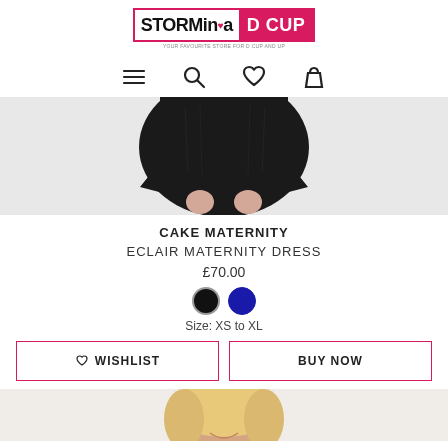[Figure (logo): Storm in a D Cup logo — black text 'STORMina' with pink heart, pink background 'D CUP', tagline: YOUR FAVOURITE STORE FOR D CUP AND UP]
[Figure (infographic): Navigation icons row: hamburger menu, search magnifier, heart/wishlist, shopping bag]
[Figure (photo): Product photo showing bottom portion of a black maternity dress with model's hands holding the hem, light grey background]
CAKE MATERNITY
ECLAIR MATERNITY DRESS
£70.00
[Figure (infographic): Two colour swatches: black circle and dark blue circle]
Size: XS to XL
♡ WISHLIST   BUY NOW
[Figure (photo): Bottom strip showing top of model's head with blonde hair and smile, cropped at chin level]